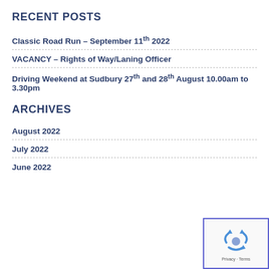RECENT POSTS
Classic Road Run – September 11th 2022
VACANCY – Rights of Way/Laning Officer
Driving Weekend at Sudbury 27th and 28th August 10.00am to 3.30pm
ARCHIVES
August 2022
July 2022
June 2022
[Figure (other): reCAPTCHA widget with blue border, showing recycling arrows icon and Privacy/Terms text]